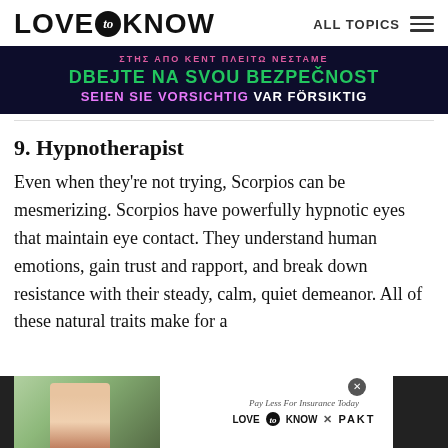LOVE to KNOW   ALL TOPICS
[Figure (other): Advertisement banner with dark navy background showing multilingual safety messages: pink top text, green text 'DBEJTE NA SVOU BEZPECNOST', and purple/white text 'SEIEN SIE VORSICHTIG VAR FORSIKTIG']
9. Hypnotherapist
Even when they're not trying, Scorpios can be mesmerizing. Scorpios have powerfully hypnotic eyes that maintain eye contact. They understand human emotions, gain trust and rapport, and break down resistance with their steady, calm, quiet demeanor. All of these natural traits make for a
[Figure (other): Bottom advertisement banner for Love to Know x PAKT insurance with 'Pay Less For Insurance Today' tagline, showing woman in pink top on green background on the left side]